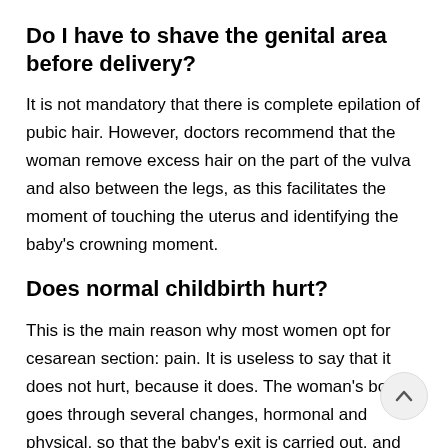Do I have to shave the genital area before delivery?
It is not mandatory that there is complete epilation of pubic hair. However, doctors recommend that the woman remove excess hair on the part of the vulva and also between the legs, as this facilitates the moment of touching the uterus and identifying the baby's crowning moment.
Does normal childbirth hurt?
This is the main reason why most women opt for cesarean section: pain. It is useless to say that it does not hurt, because it does. The woman's body goes through severe changes, hormonal and physical, so that the baby's exit is carried out, and all this ends up generating pain.